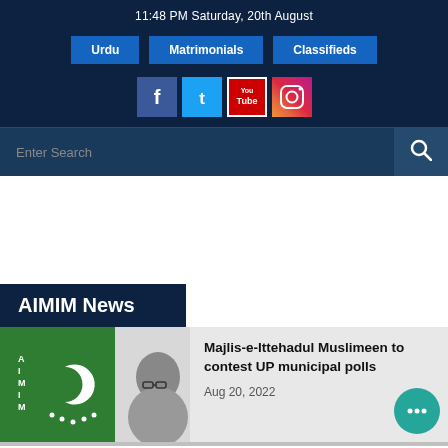11:48 PM Saturday, 20th August
Urdu | Matrimonials | Classifieds
[Figure (other): Social media icons: Facebook, Twitter, YouTube, Instagram]
Enter Search
AIMIM News
[Figure (photo): AIMIM party flag on left (green with crescent and stars) and a person wearing glasses on right]
Majlis-e-Ittehadul Muslimeen to contest UP municipal polls
Aug 20, 2022